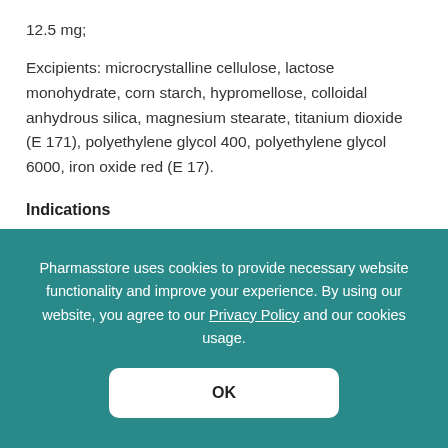12.5 mg;
Excipients: microcrystalline cellulose, lactose monohydrate, corn starch, hypromellose, colloidal anhydrous silica, magnesium stearate, titanium dioxide (E 171), polyethylene glycol 400, polyethylene glycol 6000, iron oxide red (E 17).
Indications
Essential hypertension of mild and moderate severity. This
Pharmasstore uses cookies to provide necessary website functionality and improve your experience. By using our website, you agree to our Privacy Policy and our cookies usage.
OK